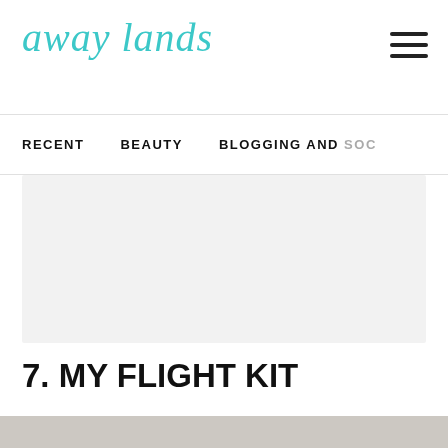away lands
RECENT   BEAUTY   BLOGGING AND SOC
[Figure (other): Gray placeholder advertisement block]
7. MY FLIGHT KIT
[Figure (photo): Partial photo strip visible at bottom of page]